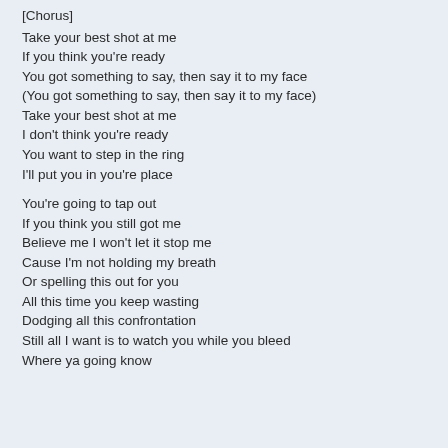[Chorus]
Take your best shot at me
If you think you're ready
You got something to say, then say it to my face
(You got something to say, then say it to my face)
Take your best shot at me
I don't think you're ready
You want to step in the ring
I'll put you in you're place
You're going to tap out
If you think you still got me
Believe me I won't let it stop me
Cause I'm not holding my breath
Or spelling this out for you
All this time you keep wasting
Dodging all this confrontation
Still all I want is to watch you while you bleed
Where ya going know